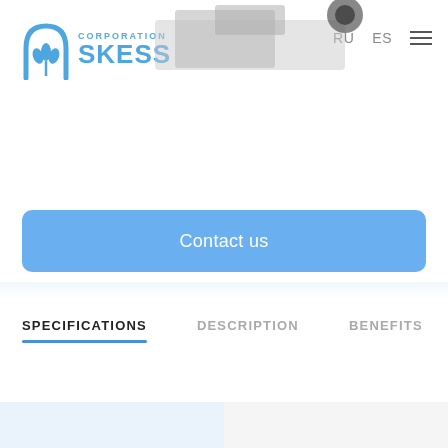[Figure (logo): SKESS Corporation logo with grain/wheat icon and blue text]
[Figure (photo): Product machinery image partially visible at top of page]
Contact us
SPECIFICATIONS
DESCRIPTION
BENEFITS